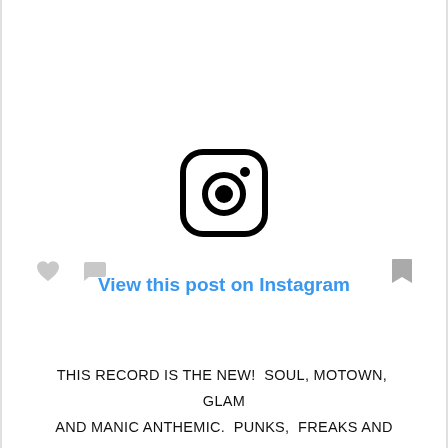[Figure (logo): Instagram logo icon - rounded square with camera lens circle and dot]
View this post on Instagram
[Figure (other): Social action icons: heart, comment bubble, bookmark]
THIS RECORD IS THE NEW!  SOUL, MOTOWN,  GLAM AND MANIC ANTHEMIC.  PUNKS,  FREAKS AND